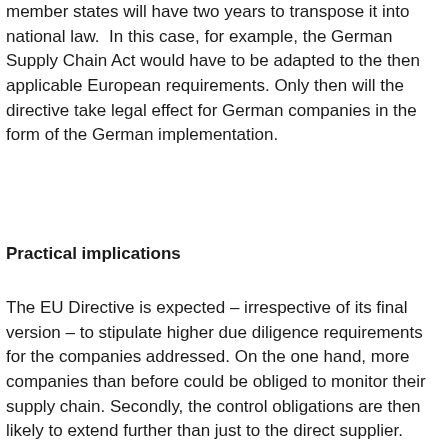member states will have two years to transpose it into national law.  In this case, for example, the German Supply Chain Act would have to be adapted to the then applicable European requirements. Only then will the directive take legal effect for German companies in the form of the German implementation.
Practical implications
The EU Directive is expected – irrespective of its final version – to stipulate higher due diligence requirements for the companies addressed. On the one hand, more companies than before could be obliged to monitor their supply chain. Secondly, the control obligations are then likely to extend further than just to the direct supplier. Above all, contractual agreements to fulfill due diligence obligations will probably increase. This will not only affect companies within the scope of the directive, but also SMEs as part of the value chain. To this end, the draft directive explicitly encourages member states to exempt SMEs in